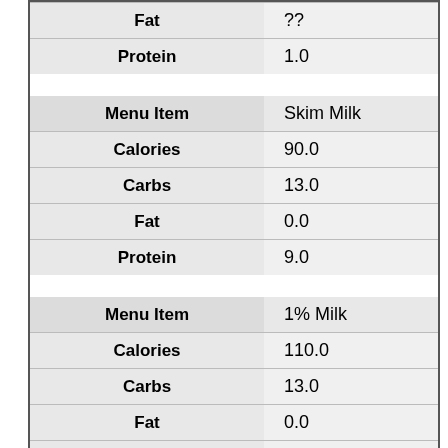| Field | Value |
| --- | --- |
| Fat | ?? |
| Protein | 1.0 |
| Field | Value |
| --- | --- |
| Menu Item | Skim Milk |
| Calories | 90.0 |
| Carbs | 13.0 |
| Fat | 0.0 |
| Protein | 9.0 |
| Field | Value |
| --- | --- |
| Menu Item | 1% Milk |
| Calories | 110.0 |
| Carbs | 13.0 |
| Fat | 0.0 |
| Protein | 8.0 |
| Field | Value |
| --- | --- |
| Menu Item | Chocolate Milk |
| Calories | 120.0 |
| Carbs | 20.0 |
| Fat | 0.0 |